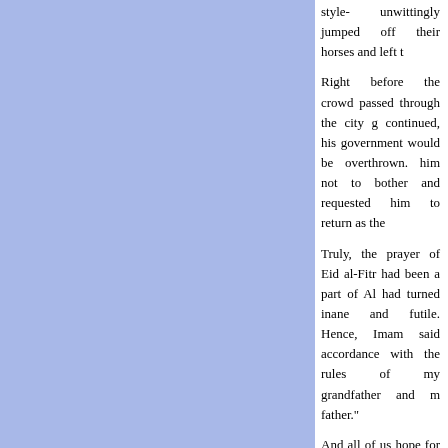style- unwittingly jumped off their horses and left t
Right before the crowd passed through the city g... continued, his government would be overthrown. ... him not to bother and requested him to return as the
Truly, the prayer of Eid al-Fitr had been a part of Al... had turned inane and futile. Hence, Imam said ... accordance with the rules of my grandfather and m... father."
And all of us hope for the day which we say the p... Imam, Imam Mahdi (PBUH). Is fulfillment of this ho... reoccurrence of our Imam?
(The above is a selection from “The Truth about Hussain’s... minor changes)
Roshd website congratulates all Muslims and espe... Fitr,the feast of servitude and submission to Allah (...
Roshd Islamic Shia Website